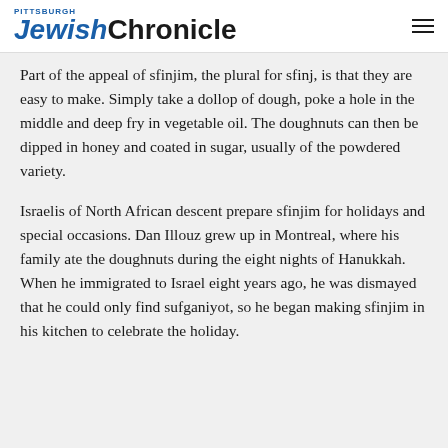Pittsburgh Jewish Chronicle
Part of the appeal of sfinjim, the plural for sfinj, is that they are easy to make. Simply take a dollop of dough, poke a hole in the middle and deep fry in vegetable oil. The doughnuts can then be dipped in honey and coated in sugar, usually of the powdered variety.
Israelis of North African descent prepare sfinjim for holidays and special occasions. Dan Illouz grew up in Montreal, where his family ate the doughnuts during the eight nights of Hanukkah. When he immigrated to Israel eight years ago, he was dismayed that he could only find sufganiyot, so he began making sfinjim in his kitchen to celebrate the holiday.